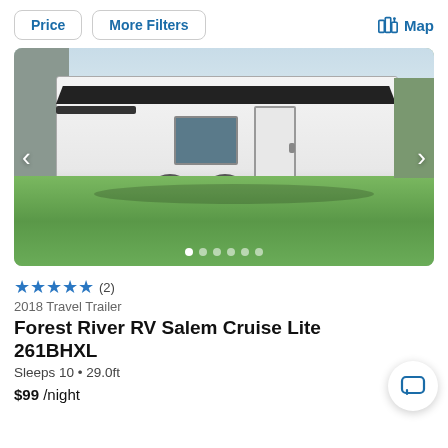Price  More Filters  Map
[Figure (photo): Photo of a white 2018 Forest River RV Salem Cruise Lite travel trailer parked on grass, with navigation arrows on left and right and carousel dots at bottom.]
★★★★★ (2)
2018 Travel Trailer
Forest River RV Salem Cruise Lite 261BHXL
Sleeps 10 • 29.0ft
$99 /night